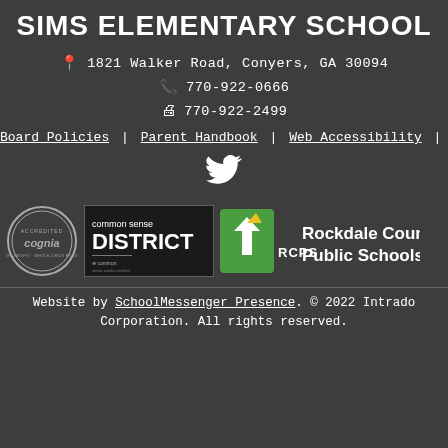SIMS ELEMENTARY SCHOOL
1821 Walker Road, Conyers, GA 30094
770-922-0666
770-922-2499
Board Policies | Parent Handbook | Web Accessibility | Legal Notices
[Figure (logo): Twitter bird icon]
[Figure (logo): Cognia Accredited seal logo]
[Figure (logo): Common Sense District badge logo]
[Figure (logo): Rockdale County Public Schools (RCPS) logo]
Website by SchoolMessenger Presence. © 2022 Intrado Corporation. All rights reserved.